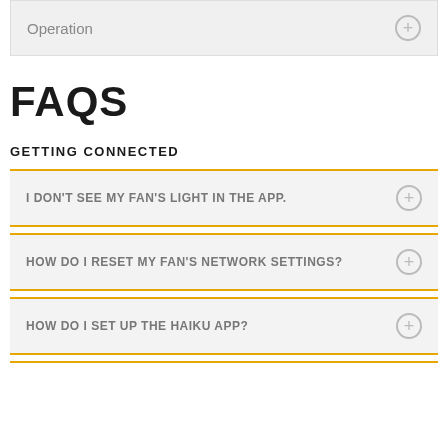Operation
FAQS
GETTING CONNECTED
I DON'T SEE MY FAN'S LIGHT IN THE APP.
HOW DO I RESET MY FAN'S NETWORK SETTINGS?
HOW DO I SET UP THE HAIKU APP?